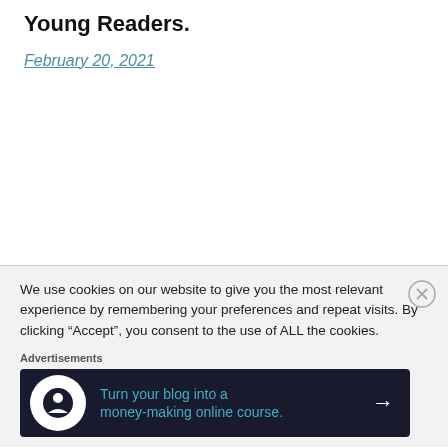Young Readers.
February 20, 2021
We use cookies on our website to give you the most relevant experience by remembering your preferences and repeat visits. By clicking “Accept”, you consent to the use of ALL the cookies.
Advertisements
[Figure (other): Advertisement banner: Turn your blog into a money-making online course. Dark background with teal text and arrow icon.]